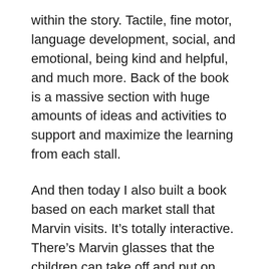within the story. Tactile, fine motor, language development, social, and emotional, being kind and helpful, and much more. Back of the book is a massive section with huge amounts of ideas and activities to support and maximize the learning from each stall.
And then today I also built a book based on each market stall that Marvin visits. It’s totally interactive. There’s Marvin glasses that the children can take off and put on. There’s his shopping bag. And then there’s something from each stall.
The flower from Flora Flower’s stall, the carrots from Veg Man Vernon’s stall, the fish from